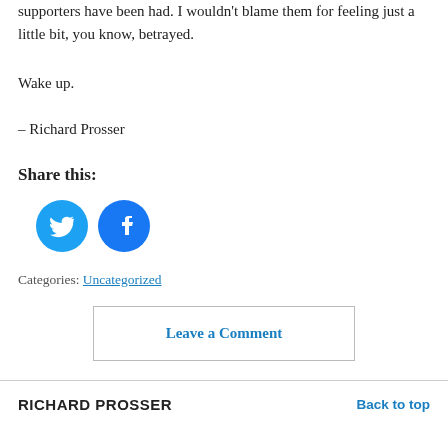supporters have been had. I wouldn't blame them for feeling just a little bit, you know, betrayed.
Wake up.
– Richard Prosser
Share this:
[Figure (other): Twitter and Facebook share icon buttons (blue circles with bird and f logos)]
Categories: Uncategorized
Leave a Comment
RICHARD PROSSER    Back to top